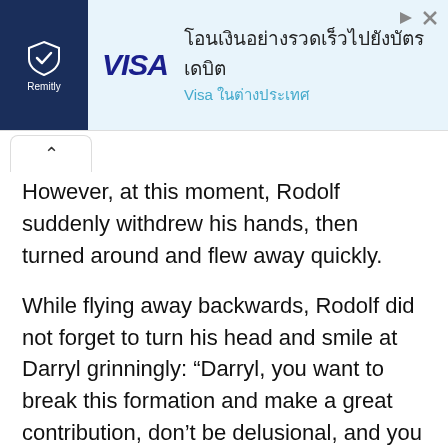[Figure (screenshot): Advertisement banner for Remitly and Visa showing Thai text about sending money quickly to debit cards abroad]
However, at this moment, Rodolf suddenly withdrew his hands, then turned around and flew away quickly.
While flying away backwards, Rodolf did not forget to turn his head and smile at Darryl grinningly: “Darryl, you want to break this formation and make a great contribution, don’t be delusional, and you robbed my princess Sally, This hatred is not shared, you...go to death.”
After the last word fell, Rodolf laughed triumphantly, then speeded up and rushed out of the blood mist.